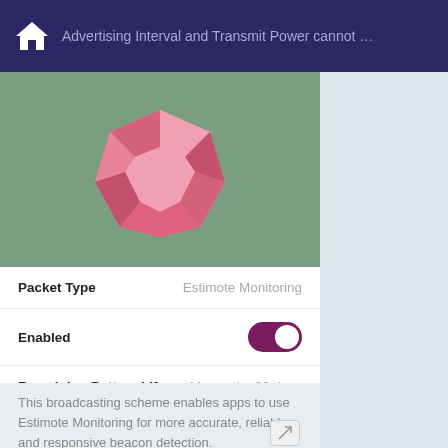Advertising Interval and Transmit Power cannot …
[Figure (illustration): Pink polygonal gem/crystal illustration on green background]
Packet Type	Estimote Monitoring
Enabled	[toggle ON]
Remaining Battery Life	11 months 29 days
Advertising Interval	200 ms
Transmit Power (Tx)	Normal (-4 dBm)
This broadcasting scheme enables apps to use Estimote Monitoring for more accurate, reliable, and responsive beacon detection.